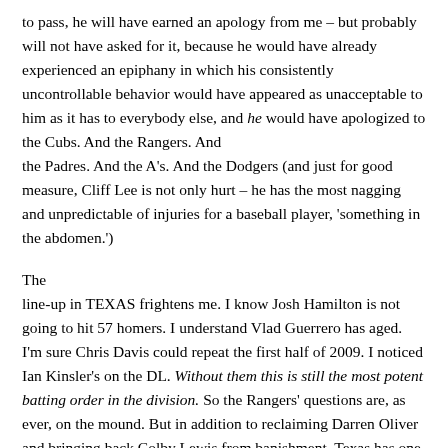to pass, he will have earned an apology from me – but probably will not have asked for it, because he would have already experienced an epiphany in which his consistently uncontrollable behavior would have appeared as unacceptable to him as it has to everybody else, and he would have apologized to the Cubs. And the Rangers. And the Padres. And the A's. And the Dodgers (and just for good measure, Cliff Lee is not only hurt – he has the most nagging and unpredictable of injuries for a baseball player, 'something in the abdomen.')
The line-up in TEXAS frightens me. I know Josh Hamilton is not going to hit 57 homers. I understand Vlad Guerrero has aged. I'm sure Chris Davis could repeat the first half of 2009. I noticed Ian Kinsler's on the DL. Without them this is still the most potent batting order in the division. So the Rangers' questions are, as ever, on the mound. But in addition to reclaiming Darren Oliver and bringing back Colby Lewis from banishment, Texas has one other answer to those questions: Neftali Feliz. It is impossible to watch him pitch and not see either a super closer, or a 250-strikeout starter. Either one of them will do the Rangers fine upon his maturation; for now, a dominating 8th-inning presence will probably win them the division. And it will be fascinating to